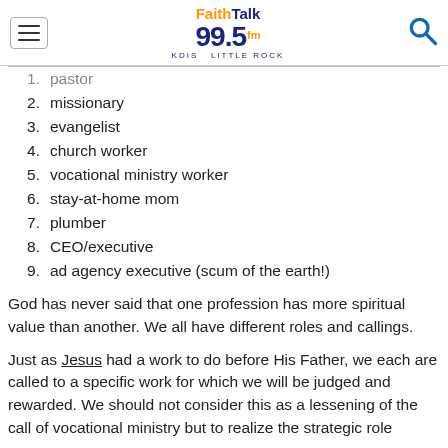FaithTalk 99.5 FM KDIS Little Rock
1. pastor
2. missionary
3. evangelist
4. church worker
5. vocational ministry worker
6. stay-at-home mom
7. plumber
8. CEO/executive
9. ad agency executive (scum of the earth!)
God has never said that one profession has more spiritual value than another. We all have different roles and callings.
Just as Jesus had a work to do before His Father, we each are called to a specific work for which we will be judged and rewarded. We should not consider this as a lessening of the call of vocational ministry but to realize the strategic role